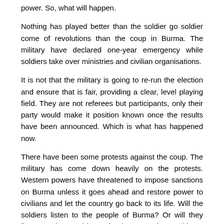power. So, what will happen.
Nothing has played better than the soldier go soldier come of revolutions than the coup in Burma. The military have declared one-year emergency while soldiers take over ministries and civilian organisations.
It is not that the military is going to re-run the election and ensure that is fair, providing a clear, level playing field. They are not referees but participants, only their party would make it position known once the results have been announced. Which is what has happened now.
There have been some protests against the coup. The military has come down heavily on the protests. Western powers have threatened to impose sanctions on Burma unless it goes ahead and restore power to civilians and let the country go back to its life. Will the soldiers listen to the people of Burma? Or will they listen to the outsiders who have not been able to uphold their own Democracy?